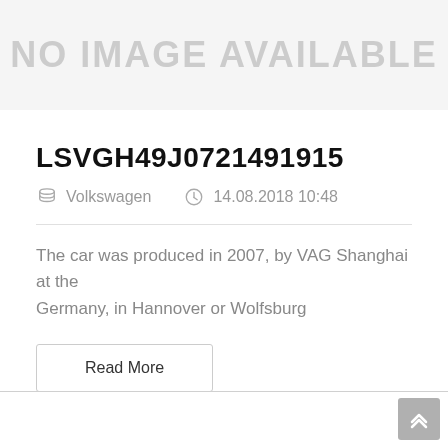[Figure (other): No image available placeholder banner with grey text on light grey background]
LSVGH49J0721491915
Volkswagen   14.08.2018 10:48
The car was produced in 2007, by VAG Shanghai at the Germany, in Hannover or Wolfsburg
Read More